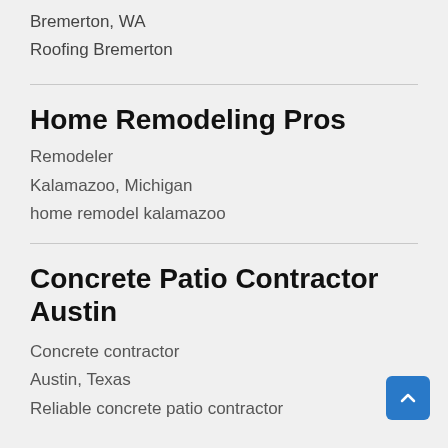Bremerton, WA
Roofing Bremerton
Home Remodeling Pros
Remodeler
Kalamazoo, Michigan
home remodel kalamazoo
Concrete Patio Contractor Austin
Concrete contractor
Austin, Texas
Reliable concrete patio contractor